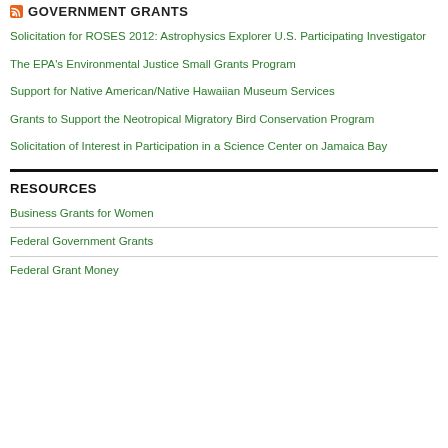GOVERNMENT GRANTS
Solicitation for ROSES 2012: Astrophysics Explorer U.S. Participating Investigator
The EPA's Environmental Justice Small Grants Program
Support for Native American/Native Hawaiian Museum Services
Grants to Support the Neotropical Migratory Bird Conservation Program
Solicitation of Interest in Participation in a Science Center on Jamaica Bay
RESOURCES
Business Grants for Women
Federal Government Grants
Federal Grant Money